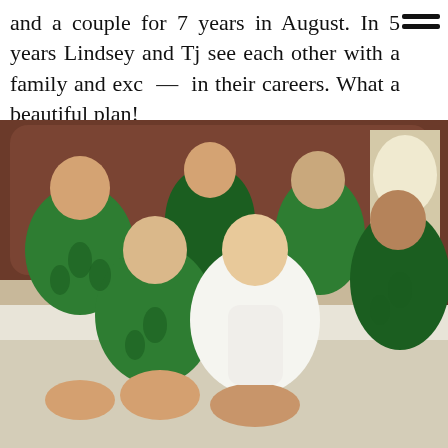and a couple for 7 years in August. In 5 years Lindsey and Tj see each other with a family and exc — in their careers. What a beautiful plan!
[Figure (photo): Group photo of a bride in a white robe and five bridesmaids in green tropical leaf print robes, sitting and posing together on a bed in a hotel room, smiling at the camera.]